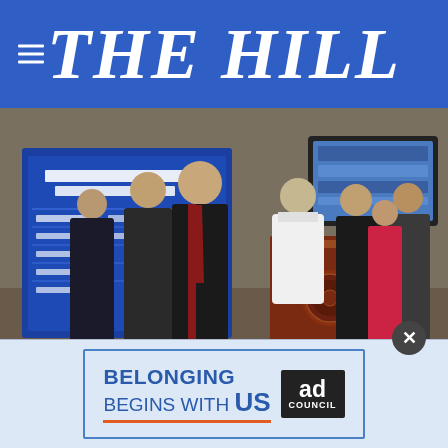THE HILL
[Figure (photo): Group of U.S. senators standing at a press conference podium in a wood-paneled room; a blue chart titled 'Terrorism Watch Lists By the Numbers' is visible on the left. A woman in a white jacket speaks at the podium.]
Greg Nash
Senate Republicans are expected to bring a bipartisan bill to the floor this week, despite opposition from the National Rifle Association and other conservative groups.